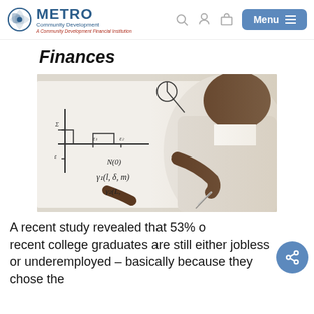METRO Community Development — A Community Development Financial Institution
Finances
[Figure (photo): A person writing mathematical equations and diagrams on a whiteboard, close-up view showing hands writing formulas]
A recent study revealed that 53% of recent college graduates are still either jobless or underemployed – basically because they chose the